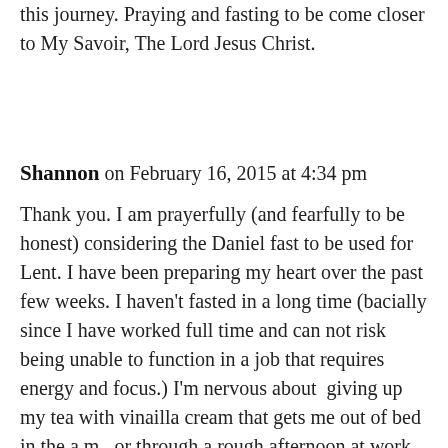this journey. Praying and fasting to be come closer to My Savoir, The Lord Jesus Christ.
Shannon on February 16, 2015 at 4:34 pm
Thank you. I am prayerfully (and fearfully to be honest) considering the Daniel fast to be used for Lent. I have been preparing my heart over the past few weeks. I haven't fasted in a long time (bacially since I have worked full time and can not risk being unable to function in a job that requires energy and focus.) I'm nervous about giving up my tea with vinailla cream that gets me out of bed in the a.m., or through a rough afternoon at work, and giving up animal proteins. (Love my eggs!)
Thank you for the additioanal information on Lent.